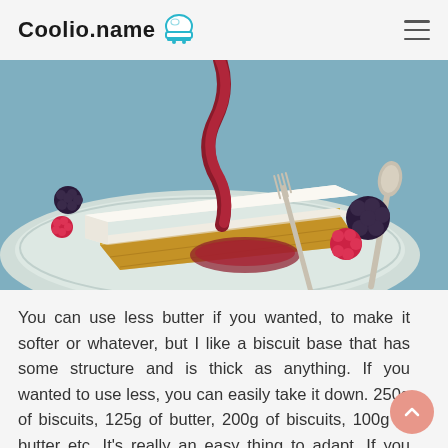Coolio.name
[Figure (photo): A slice of cheesecake on a light teal plate with berries (blackberries, raspberry) and red berry sauce, with a fork, on a blue textured background.]
You can use less butter if you wanted, to make it softer or whatever, but I like a biscuit base that has some structure and is thick as anything. If you wanted to use less, you can easily take it down. 250g of biscuits, 125g of butter, 200g of biscuits, 100g of butter etc. It's really an easy thing to adapt. If you wanted to make it chocolate, add in 1tbsp of cocoa powder,